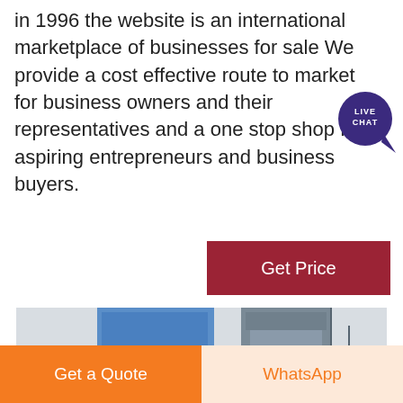in 1996 the website is an international marketplace of businesses for sale We provide a cost effective route to market for business owners and their representatives and a one stop shop for aspiring entrepreneurs and business buyers.
[Figure (other): Live Chat bubble icon — dark purple circle with 'LIVE CHAT' text and speech bubble tail]
[Figure (other): Get Price button — dark red rectangular button with white text 'Get Price']
[Figure (photo): Industrial facility photograph showing tall blue and grey metal structures, scaffolding, pipes, and industrial equipment against an overcast sky]
[Figure (other): Bottom bar with two buttons: orange 'Get a Quote' button on the left and light peach 'WhatsApp' button on the right]